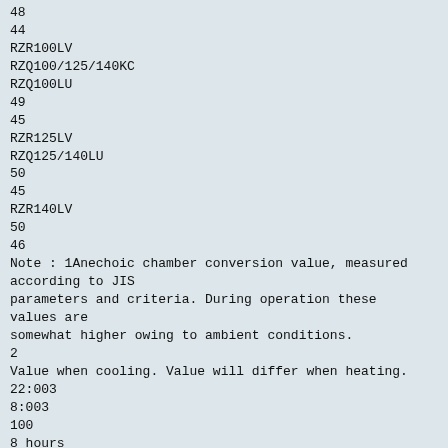48
44
RZR100LV
RZQ100/125/140KC
RZQ100LU
49
45
RZR125LV
RZQ125/140LU
50
45
RZR140LV
50
46
Note : 1Anechoic chamber conversion value, measured according to JIS
parameters and criteria. During operation these values are
somewhat higher owing to ambient conditions.
2
Value when cooling. Value will differ when heating.
22:003
8:003
100
8 hours
50
Load (%)
Operation
Sound4 (dB(A))
1
Capacity (%)
Peak in outdoor temperature
10 hours